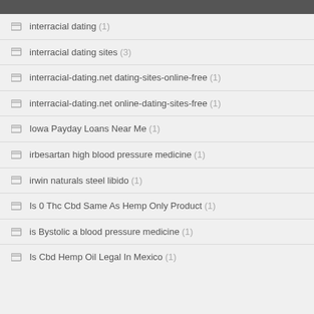interracial dating (1)
interracial dating sites (3)
interracial-dating.net dating-sites-online-free (1)
interracial-dating.net online-dating-sites-free (1)
Iowa Payday Loans Near Me (1)
irbesartan high blood pressure medicine (1)
irwin naturals steel libido (1)
Is 0 Thc Cbd Same As Hemp Only Product (1)
is Bystolic a blood pressure medicine (1)
Is Cbd Hemp Oil Legal In Mexico (1)